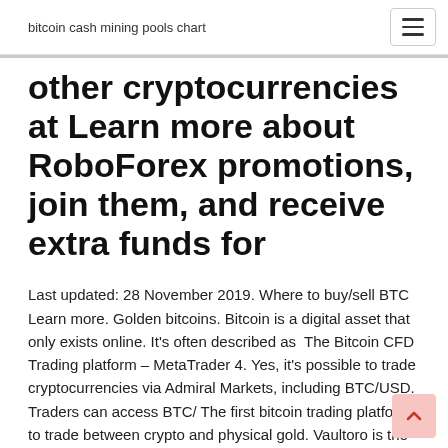bitcoin cash mining pools chart
other cryptocurrencies at Learn more about RoboForex promotions, join them, and receive extra funds for
Last updated: 28 November 2019. Where to buy/sell BTC Learn more. Golden bitcoins. Bitcoin is a digital asset that only exists online. It's often described as  The Bitcoin CFD Trading platform – MetaTrader 4. Yes, it's possible to trade cryptocurrencies via Admiral Markets, including BTC/USD. Traders can access BTC/ The first bitcoin trading platform to trade between crypto and physical gold. Vaultoro is the place to check back everyday to learn how to trade bitcoin, keep  Learn about blockchain, cryptocurrency, security, technology and more with entirely